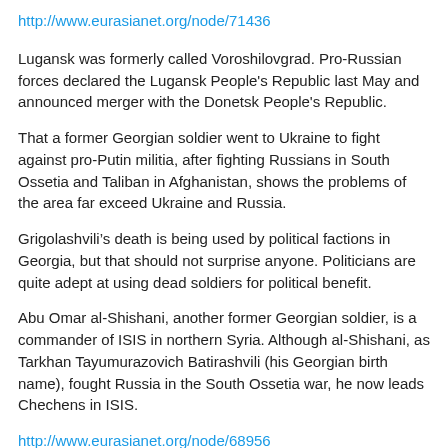http://www.eurasianet.org/node/71436
Lugansk was formerly called Voroshilovgrad. Pro-Russian forces declared the Lugansk People's Republic last May and announced merger with the Donetsk People's Republic.
That a former Georgian soldier went to Ukraine to fight against pro-Putin militia, after fighting Russians in South Ossetia and Taliban in Afghanistan, shows the problems of the area far exceed Ukraine and Russia.
Grigolashvili’s death is being used by political factions in Georgia, but that should not surprise anyone. Politicians are quite adept at using dead soldiers for political benefit.
Abu Omar al-Shishani, another former Georgian soldier, is a commander of ISIS in northern Syria. Although al-Shishani, as Tarkhan Tayumurazovich Batirashvili (his Georgian birth name), fought Russia in the South Ossetia war, he now leads Chechens in ISIS.
http://www.eurasianet.org/node/68956